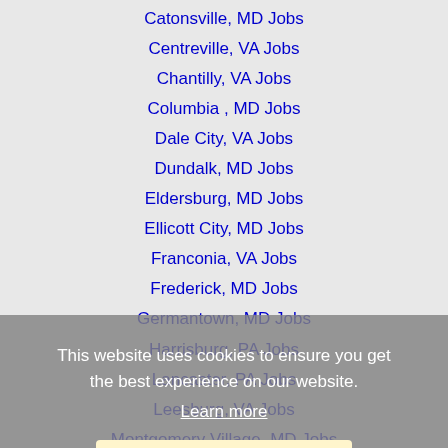Catonsville, MD Jobs
Centreville, VA Jobs
Chantilly, VA Jobs
Columbia , MD Jobs
Dale City, VA Jobs
Dundalk, MD Jobs
Eldersburg, MD Jobs
Ellicott City, MD Jobs
Franconia, VA Jobs
Frederick, MD Jobs
Germantown, MD Jobs
Harrisburg, PA Jobs
Lancaster, PA Jobs
Leesburg, VA Jobs
Montgomery Village, MD Jobs
North Bethesda, MD Jobs
Olney, MD Jobs
Potomac, MD Jobs
This website uses cookies to ensure you get the best experience on our website.
Learn more
Got it!